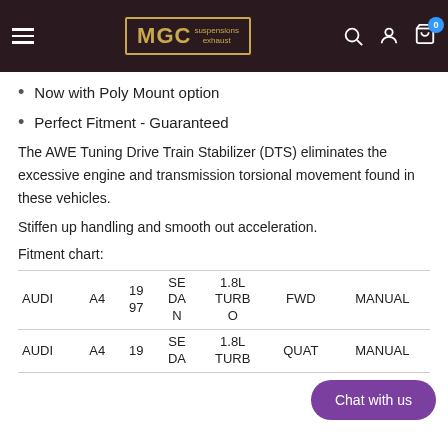MGC suspensions exhaust — navigation header
Now with Poly Mount option
Perfect Fitment - Guaranteed
The AWE Tuning Drive Train Stabilizer (DTS) eliminates the excessive engine and transmission torsional movement found in these vehicles.
Stiffen up handling and smooth out acceleration.
Fitment chart:
|  |  |  |  |  |  |  |
| --- | --- | --- | --- | --- | --- | --- |
| AUDI | A4 | 1997 | SEDAN | 1.8L TURBO | FWD | MANUAL |
| AUDI | A4 | 19 | SEDAN | 1.8L TURBO | QUAT | MANUAL |